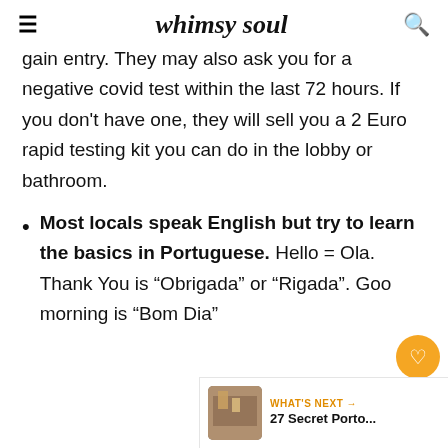whimsy soul
gain entry. They may also ask you for a negative covid test within the last 72 hours. If you don't have one, they will sell you a 2 Euro rapid testing kit you can do in the lobby or bathroom.
Most locals speak English but try to learn the basics in Portuguese. Hello = Ola. Thank You is “Obrigada” or “Rigada”. Good morning is “Bom Dia”